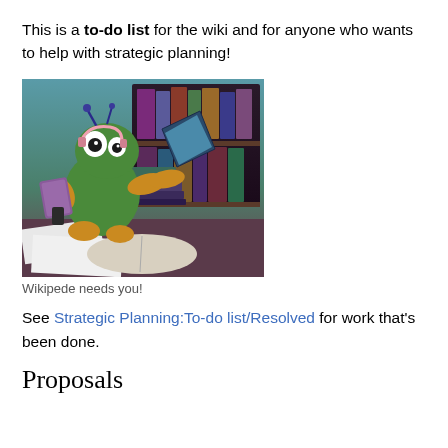This is a to-do list for the wiki and for anyone who wants to help with strategic planning!
[Figure (illustration): Cartoon illustration of 'Wikipede', a green caterpillar/bug character wearing a headset, holding a book, and typing on a keyboard/laptop, surrounded by books and bookshelves in the background.]
Wikipede needs you!
See Strategic Planning:To-do list/Resolved for work that's been done.
Proposals